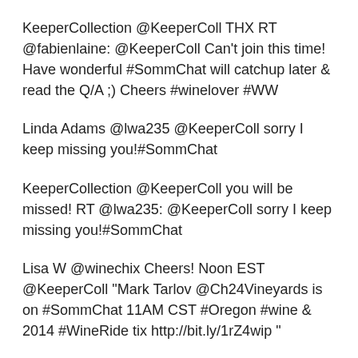KeeperCollection @KeeperColl THX RT @fabienlaine: @KeeperColl Can't join this time! Have wonderful #SommChat will catchup later & read the Q/A ;) Cheers #winelover #WW
Linda Adams @lwa235 @KeeperColl sorry I keep missing you!#SommChat
KeeperCollection @KeeperColl you will be missed! RT @lwa235: @KeeperColl sorry I keep missing you!#SommChat
Lisa W @winechix Cheers! Noon EST @KeeperColl "Mark Tarlov @Ch24Vineyards is on #SommChat 11AM CST #Oregon #wine & 2014 #WineRide tix http://bit.ly/1rZ4wip "
Gourmet Delight...